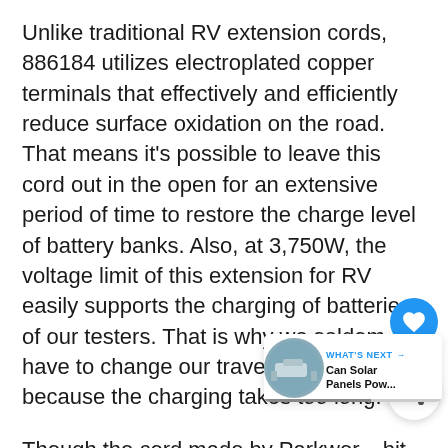Unlike traditional RV extension cords, 886184 utilizes electroplated copper terminals that effectively and efficiently reduce surface oxidation on the road. That means it's possible to leave this cord out in the open for an extensive period of time to restore the charge level of battery banks. Also, at 3,750W, the voltage limit of this extension for RV easily supports the charging of batteries of our testers. That is why we seldom have to change our travel schedule because the charging takes too long.
Though the cord made by Parkwor... bit expensive, the values it provides